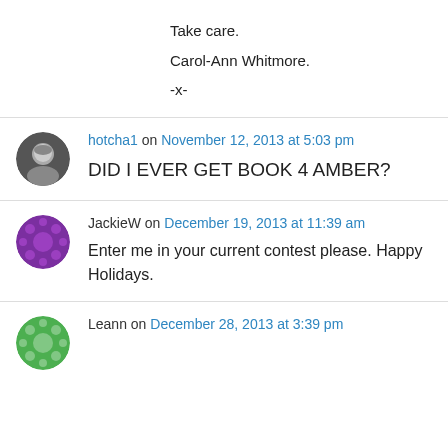Take care.
Carol-Ann Whitmore.
-x-
hotcha1 on November 12, 2013 at 5:03 pm
DID I EVER GET BOOK 4 AMBER?
JackieW on December 19, 2013 at 11:39 am
Enter me in your current contest please. Happy Holidays.
Leann on December 28, 2013 at 3:39 pm